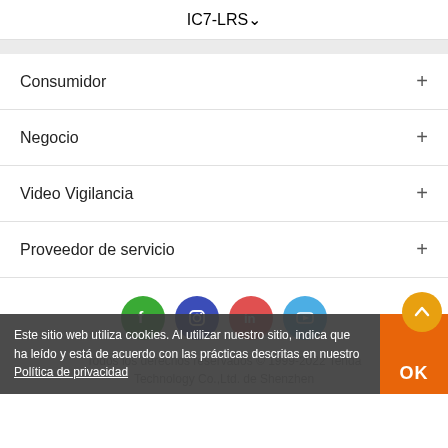IC7-LRS
Consumidor
Negocio
Video Vigilancia
Proveedor de servicio
[Figure (other): Social media icons: Facebook (green), Instagram (dark blue), LinkedIn (red), YouTube (blue)]
Todos los derechos reservados © 1999-2022 Tenda Technology Co.,Ltd. de Shenzhen
Este sitio web utiliza cookies. Al utilizar nuestro sitio, indica que ha leído y está de acuerdo con las prácticas descritas en nuestro Política de privacidad